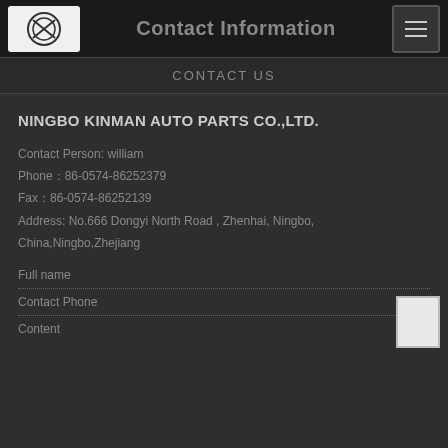Contact Information
CONTACT US
NINGBO KINMAN AUTO PARTS CO.,LTD.
Contact Person: william
Phone：86-0574-86252379
Fax：86-0574-86252139
Address: No.666 Dongyi North Road , Zhenhai, Ningbo, China,Ningbo,Zhejiang
Full name
Contact Phone
Content